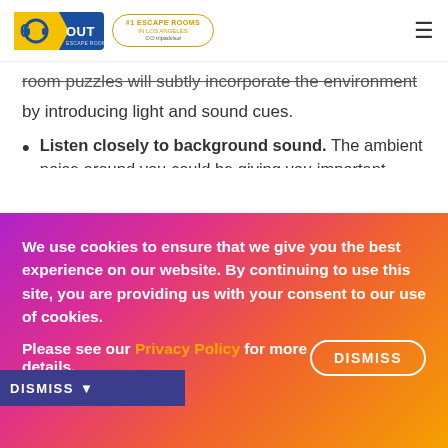60out Escape Rooms — #1 Escape Rooms in Los Angeles — tripadvisor
room puzzles will subtly incorporate the environment by introducing light and sound cues.
Listen closely to background sound. The ambient noise around you could be giving you important clues! Listen for Morse code through beeps or taps, whispered words, and the direction noises are coming from.
Pay attention to where lights aren't shining. ...s shining somewhere, it's usually to draw
We use cookies to ensure that we give you the best experience on our website. By continuing to use this site, you are providing us with your consent to our use of cookies. Please see our Privacy Policy for more details. DISMISS